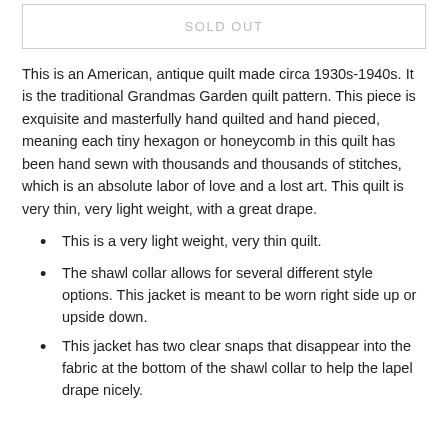SOLD OUT
This is an American, antique quilt made circa 1930s-1940s. It is the traditional Grandmas Garden quilt pattern. This piece is exquisite and masterfully hand quilted and hand pieced, meaning each tiny hexagon or honeycomb in this quilt has been hand sewn with thousands and thousands of stitches, which is an absolute labor of love and a lost art. This quilt is very thin, very light weight, with a great drape.
This is a very light weight, very thin quilt.
The shawl collar allows for several different style options. This jacket is meant to be worn right side up or upside down.
This jacket has two clear snaps that disappear into the fabric at the bottom of the shawl collar to help the lapel drape nicely.